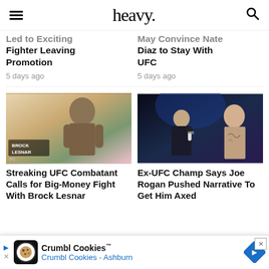heavy.
Led to Exciting Fighter Leaving Promotion
5 days ago
May Convince Nate Diaz to Stay With UFC
5 days ago
[Figure (photo): Brock Lesnar at UFC weigh-in, shirtless, with 'BROCK LESNAR' name plate visible]
[Figure (photo): Joe Rogan holding UFC microphone interviewing a tattooed fighter at UFC event]
Streaking UFC Combatant Calls for Big-Money Fight With Brock Lesnar
Ex-UFC Champ Says Joe Rogan Pushed Narrative To Get Him Axed
5 days ago
Crumbl Cookies™ Crumbl Cookies - Ashburn